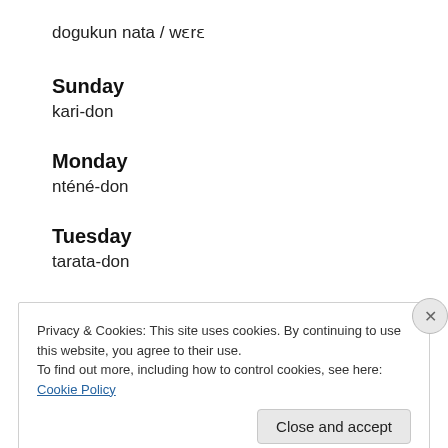dogukun nata / wɛrɛ
Sunday
kari-don
Monday
nténé-don
Tuesday
tarata-don
Wednesday
Privacy & Cookies: This site uses cookies. By continuing to use this website, you agree to their use.
To find out more, including how to control cookies, see here: Cookie Policy